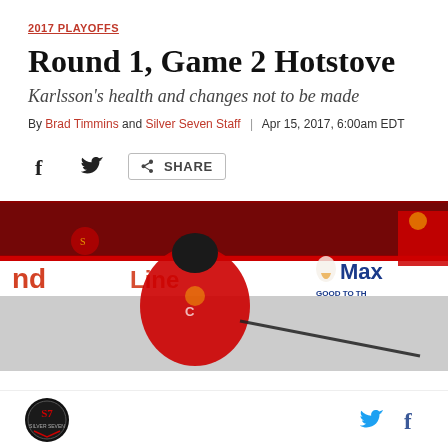2017 PLAYOFFS
Round 1, Game 2 Hotstove
Karlsson's health and changes not to be made
By Brad Timmins and Silver Seven Staff | Apr 15, 2017, 6:00am EDT
[Figure (other): Social share bar with Facebook, Twitter icons and a SHARE button]
[Figure (photo): Ottawa Senators hockey player in red uniform skating on ice during 2017 playoffs, rinkside ads visible including MaxLite]
[Figure (logo): Silver Seven Senators blog logo (circular badge) in footer, with Twitter and Facebook icons on the right]